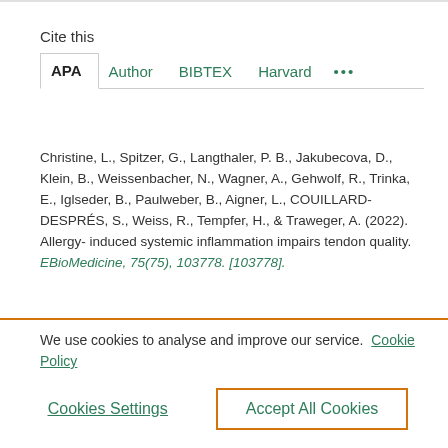Cite this
APA | Author | BIBTEX | Harvard ...
Christine, L., Spitzer, G., Langthaler, P. B., Jakubecova, D., Klein, B., Weissenbacher, N., Wagner, A., Gehwolf, R., Trinka, E., Iglseder, B., Paulweber, B., Aigner, L., COUILLARD-DESPRÉS, S., Weiss, R., Tempfer, H., & Traweger, A. (2022). Allergy-induced systemic inflammation impairs tendon quality. EBioMedicine, 75(75), 103778. [103778].
We use cookies to analyse and improve our service.  Cookie Policy
Cookies Settings
Accept All Cookies